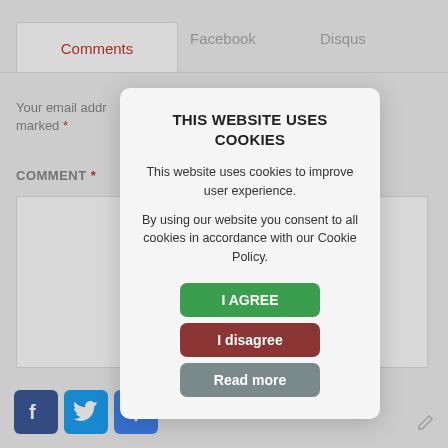Comments
Facebook
Disqus
Your email address will not be published. Required fields are marked *
COMMENT *
[Figure (screenshot): Cookie consent modal dialog with title 'THIS WEBSITE USES COOKIES', body text, and three buttons: I AGREE (green), I disagree (red), Read more (grey)]
THIS WEBSITE USES COOKIES
This website uses cookies to improve user experience.
By using our website you consent to all cookies in accordance with our Cookie Policy.
I AGREE
I disagree
Read more